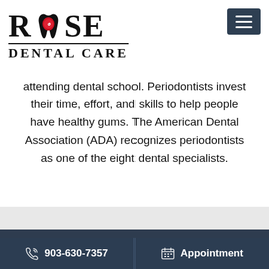[Figure (logo): Rose Dental Care logo with stylized rose inside a tooth shape, text 'ROSE DENTAL CARE']
attending dental school. Periodontists invest their time, effort, and skills to help people have healthy gums. The American Dental Association (ADA) recognizes periodontists as one of the eight dental specialists.
903-630-7357   Appointment